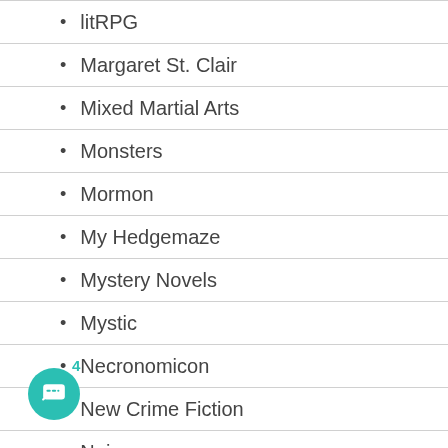litRPG
Margaret St. Clair
Mixed Martial Arts
Monsters
Mormon
My Hedgemaze
Mystery Novels
Mystic
Necronomicon
New Crime Fiction
Noir
Noir Fiction